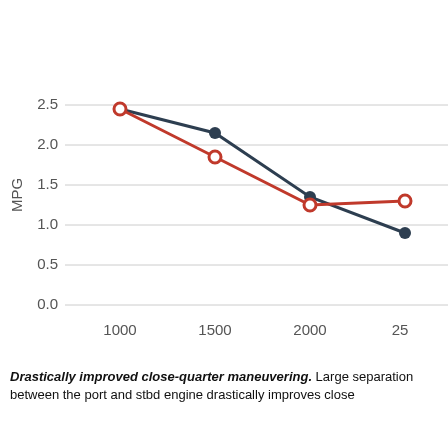[Figure (line-chart): ]
Drastically improved close-quarter maneuvering. Large separation between the port and stbd engine drastically improves close